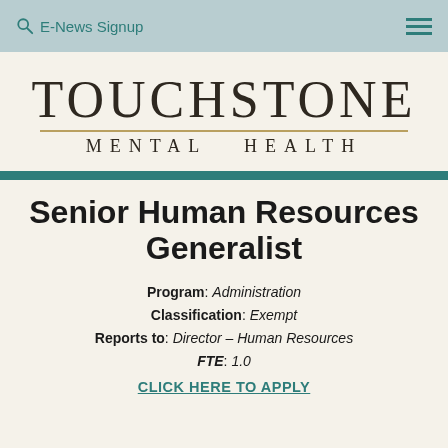E-News Signup
[Figure (logo): Touchstone Mental Health logo with large serif TOUCHSTONE text, thin gold horizontal rule, and spaced MENTAL HEALTH text below]
Senior Human Resources Generalist
Program: Administration
Classification: Exempt
Reports to: Director – Human Resources
FTE: 1.0
CLICK HERE TO APPLY